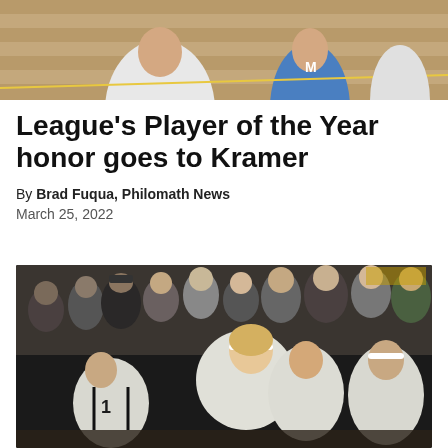[Figure (photo): Top portion of a basketball game photo showing players in white and blue uniforms in a gymnasium setting]
League's Player of the Year honor goes to Kramer
By Brad Fuqua, Philomath News
March 25, 2022
[Figure (photo): Crowd celebration photo showing female basketball players in white and black uniforms celebrating on the floor with fans and teammates surrounding them in a gymnasium]